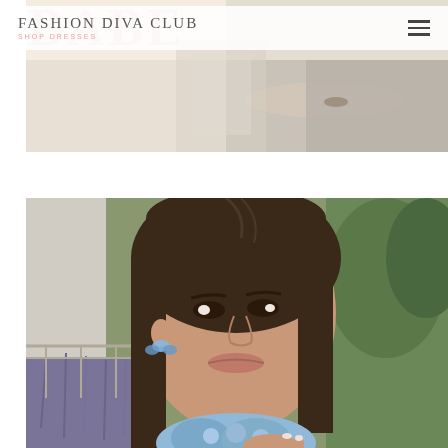Fashion Diva Club SHOP DRESSES
[Figure (photo): Top banner photo showing a woman in a white outfit, partially visible, with sunlight. Large semi-transparent text 'BABE' overlaid in pink at the top.]
[Figure (photo): Portrait photo of a young woman with brown hair and blue butterfly earrings, holding a blue floral item, with lavender plants and green trees in the background.]